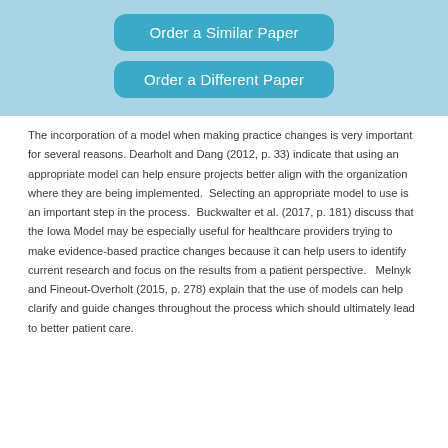[Figure (other): Two teal rounded buttons labeled 'Order a Similar Paper' and 'Order a Different Paper' on a light blue background banner]
The incorporation of a model when making practice changes is very important for several reasons. Dearholt and Dang (2012, p. 33) indicate that using an appropriate model can help ensure projects better align with the organization where they are being implemented.  Selecting an appropriate model to use is an important step in the process.  Buckwalter et al. (2017, p. 181) discuss that the Iowa Model may be especially useful for healthcare providers trying to make evidence-based practice changes because it can help users to identify current research and focus on the results from a patient perspective.   Melnyk and Fineout-Overholt (2015, p. 278) explain that the use of models can help clarify and guide changes throughout the process which should ultimately lead to better patient care.